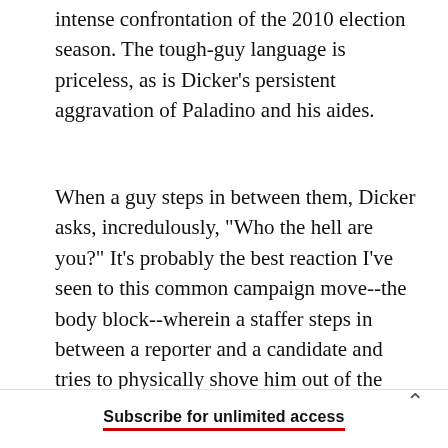intense confrontation of the 2010 election season. The tough-guy language is priceless, as is Dicker's persistent aggravation of Paladino and his aides.
When a guy steps in between them, Dicker asks, incredulously, "Who the hell are you?" It's probably the best reaction I've seen to this common campaign move--the body block--wherein a staffer steps in between a reporter and a candidate and tries to physically shove him out of the way without actually using his hands. (Physical comedy usually
Subscribe for unlimited access